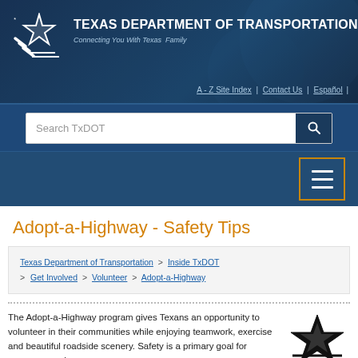TEXAS DEPARTMENT OF TRANSPORTATION
Connecting You With Texas Family
A - Z Site Index | Contact Us | Español |
Search TxDOT
Adopt-a-Highway - Safety Tips
Texas Department of Transportation > Inside TxDOT > Get Involved > Volunteer > Adopt-a-Highway
The Adopt-a-Highway program gives Texans an opportunity to volunteer in their communities while enjoying teamwork, exercise and beautiful roadside scenery. Safety is a primary goal for everyone, and